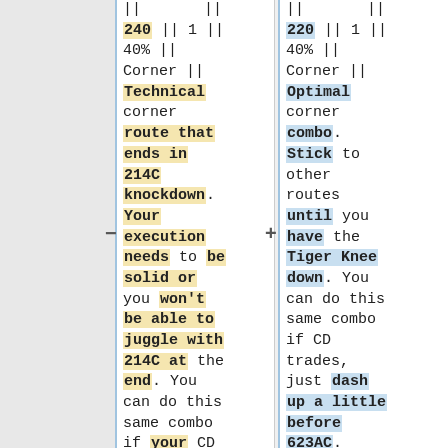|| || 240 || 1 || 40% || Corner || Technical corner route that ends in 214C knockdown. Your execution needs to be solid or you won't be able to juggle with 214C at the end. You can do this same combo if your CD
|| || 220 || 1 || 40% || Corner || Optimal corner combo. Stick to other routes until you have the Tiger Knee down. You can do this same combo if CD trades, just dash up a little before 623AC.